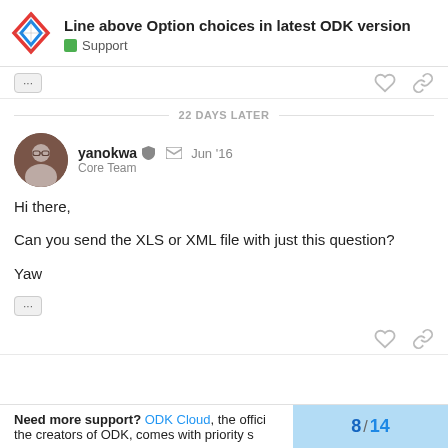Line above Option choices in latest ODK version — Support
22 DAYS LATER
yanokwa Core Team Jun '16
Hi there,

Can you send the XLS or XML file with just this question?

Yaw
Need more support? ODK Cloud, the official hosting service from the creators of ODK, comes with priority s  8 / 14